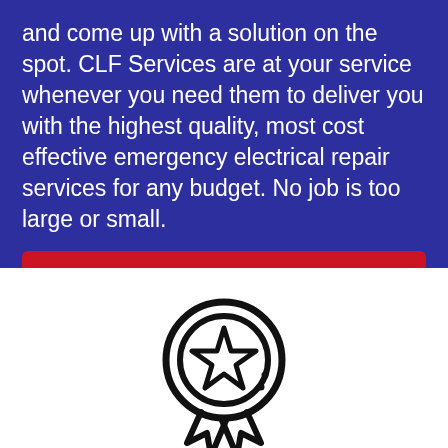and come up with a solution on the spot. CLF Services are at your service whenever you need them to deliver you with the highest quality, most cost effective emergency electrical repair services for any budget. No job is too large or small.
Contact us today
Call us 1300882202
[Figure (illustration): Award ribbon / medal icon — a circle with a star inside and two ribbon tails below, rendered in black outline on white background]